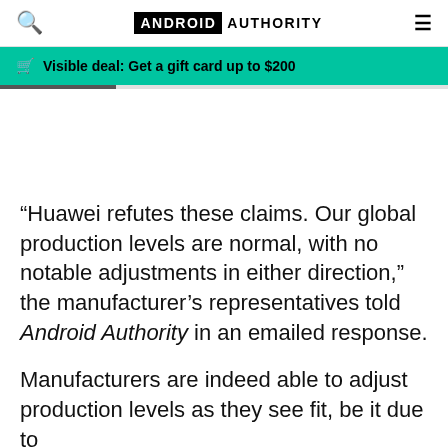ANDROID AUTHORITY
🛒 Visible deal: Get a gift card up to $200
“Huawei refutes these claims. Our global production levels are normal, with no notable adjustments in either direction,” the manufacturer’s representatives told Android Authority in an emailed response.
Manufacturers are indeed able to adjust production levels as they see fit, be it due to